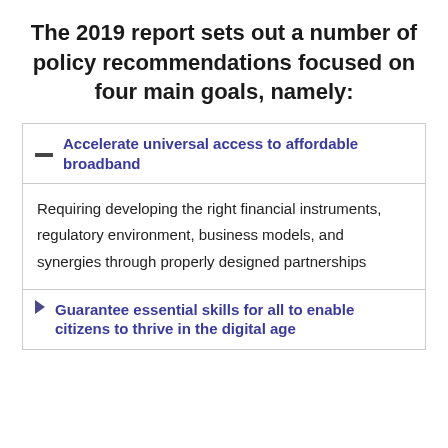The 2019 report sets out a number of policy recommendations focused on four main goals, namely:
Accelerate universal access to affordable broadband
Requiring developing the right financial instruments, regulatory environment, business models, and synergies through properly designed partnerships
Guarantee essential skills for all to enable citizens to thrive in the digital age